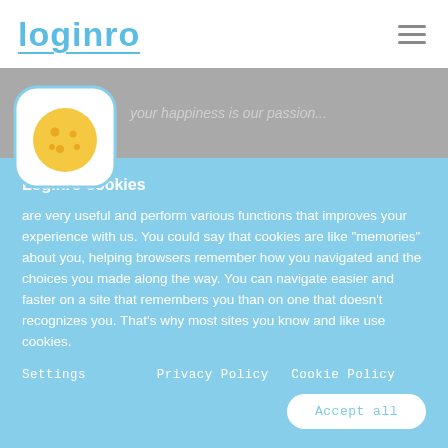loginro
[Figure (illustration): Cookie icon: white rounded square with a yellow cookie illustration inside, on a grey banner background]
Loginro cookies
are very useful and perform various functions that improves your experience with us. You could say that cookies are like "memories" about you, helping browsers remember how you navigated and the choices you made along the way. You can navigate easier and faster on a site that remembers you than on one that doesn't recognizes you. That's why most sites you know and like use cookies.
Settings    Privacy Policy    Cookie Policy
Accept all